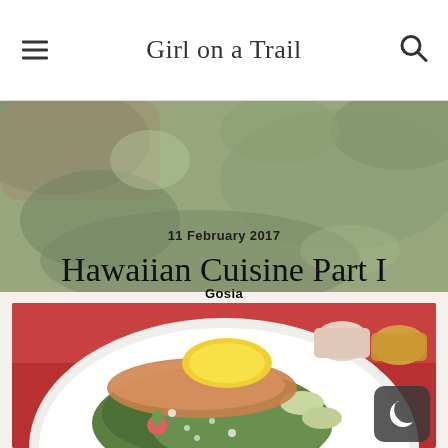Girl on a Trail
[Figure (photo): Background food/salad hero image with greens and produce, semi-transparent overlay. Contains date text '11 February 2017', post title 'Hawaiian Cuisine Part I', and author 'Gosia'.]
11 February 2017
Hawaiian Cuisine Part I
Gosia
[Figure (photo): Photo of a white plate with green salad (spinach/arugula), grilled fish fillet, lemon wedge, and grated parmesan cheese, served on a red table with sauce cups in background.]